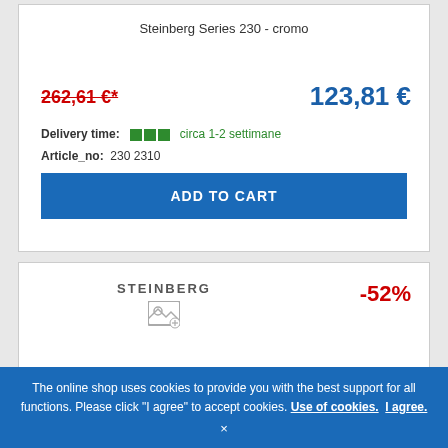Steinberg Series 230 - cromo
262,61 €*
123,81 €
Delivery time: circa 1-2 settimane
Article_no: 230 2310
ADD TO CART
STEINBERG
-52%
The online shop uses cookies to provide you with the best support for all functions. Please click "I agree" to accept cookies. Use of cookies.  I agree.